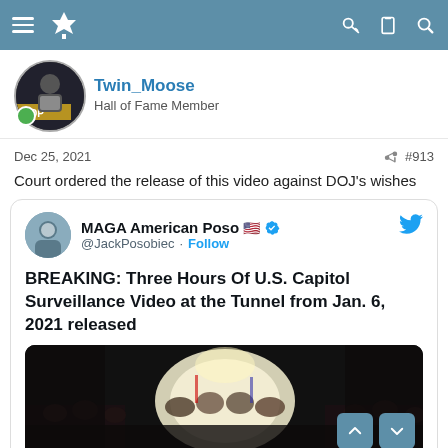Navigation bar with hamburger menu, site logo, and icons for search, clipboard, and key
[Figure (photo): User avatar for Twin_Moose showing a person with WOP text overlay]
Twin_Moose
Hall of Fame Member
Dec 25, 2021  #913
Court ordered the release of this video against DOJ's wishes
[Figure (screenshot): Embedded tweet from MAGA American Poso (@JackPosobiec) with Follow button and Twitter bird icon. Tweet text: BREAKING: Three Hours Of U.S. Capitol Surveillance Video at the Tunnel from Jan. 6, 2021 released. Tweet contains a dark image of a crowd of people in a tunnel lit by a bright light, appearing to be from the U.S. Capitol on January 6, 2021.]